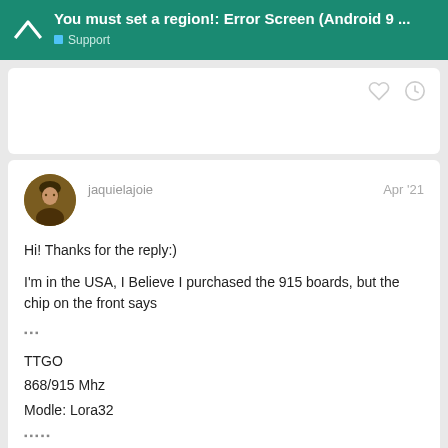You must set a region!: Error Screen (Android 9 ... | Support
jaquielajoie   Apr '21

Hi! Thanks for the reply:)

I'm in the USA, I Believe I purchased the 915 boards, but the chip on the front says
...
TTGO
868/915 Mhz
Modle: Lora32
...
2 / 22